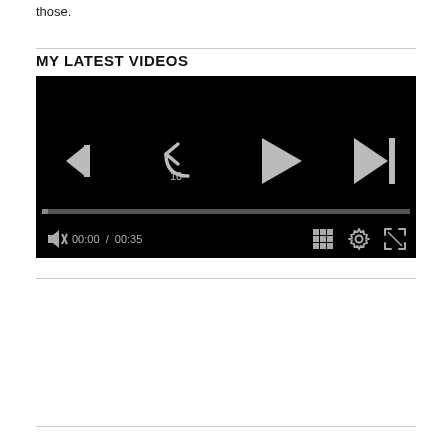those.
MY LATEST VIDEOS
[Figure (screenshot): A video player with black background showing playback controls: rewind 10s button, play button, skip-next button, a progress bar, mute icon, time display 00:00 / 00:35, grid icon, settings gear icon, and fullscreen icon.]